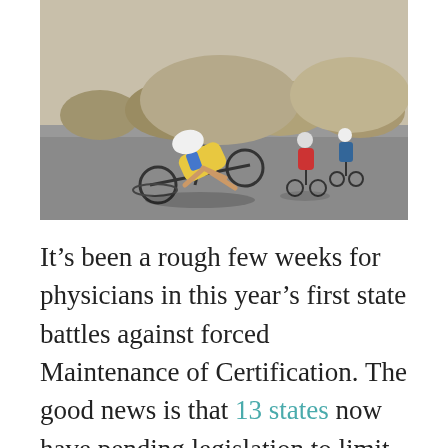[Figure (photo): Cycling race crash: a cyclist in yellow and blue jersey has fallen on the road with bicycle, other cyclists visible in background on a sunny desert road.]
It's been a rough few weeks for physicians in this year's first state battles against forced Maintenance of Certification. The good news is that 13 states now have pending legislation to limit the power of the ABMS over physicians. These bills are coming up in red states and blue states, sponsored by democrats and republicans alike. Maryland even has